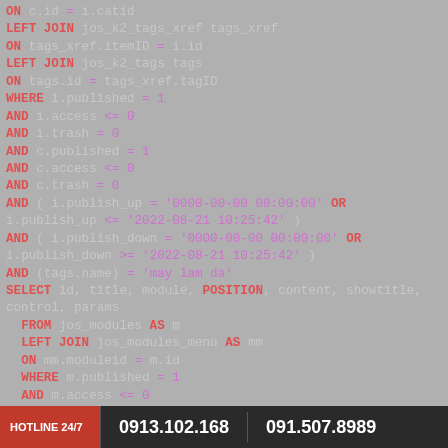ON c.id = i.catid
LEFT JOIN jos_k2_tags_xref tags_xref
ON tags_xref.itemID = i.id
LEFT JOIN jos_k2_tags tags
ON tags.id = tags_xref.tagID
WHERE i.published = 1
AND i.access <= 0
AND i.trash = 0
AND c.published = 1
AND c.access <= 0
AND c.trash = 0
AND ( i.publish_up = '0000-00-00 00:00:00' OR i.publish_up <= '2022-08-21 10:25:42' )
AND ( i.publish_down = '0000-00-00 00:00:00' OR i.publish_down >= '2022-08-21 10:25:42' )
AND (tags.name) = 'may lam da'
SELECT id, title, module, POSITION, content, showtitle, control, params
  FROM jos_modules AS m
  LEFT JOIN jos_modules_menu AS mm
  ON mm.moduleid = m.id
  WHERE m.published = 1
  AND m.access <= 0
  AND m.client_id = 0
  AND ( mm.menuid = 63 OR mm.menuid = 0 )
  ORDER BY POSITION, ordering
SELECT slide.*, `group`.name AS groupname, category.name AS categoryName, category.params AS categoryParams,
HOTLINE 24/7   0913.102.168   091.507.8989